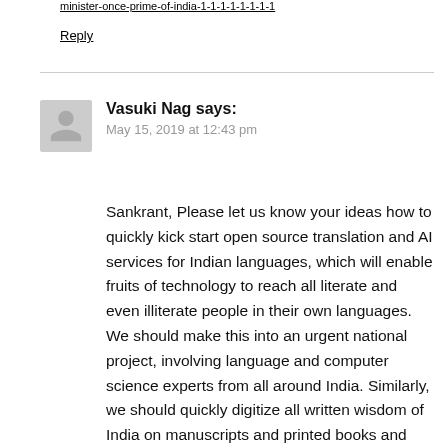[truncated link text at top]
Reply
Vasuki Nag says:
May 15, 2019 at 12:43 pm
Sankrant, Please let us know your ideas how to quickly kick start open source translation and AI services for Indian languages, which will enable fruits of technology to reach all literate and even illiterate people in their own languages. We should make this into an urgent national project, involving language and computer science experts from all around India. Similarly, we should quickly digitize all written wisdom of India on manuscripts and printed books and make them accessible.